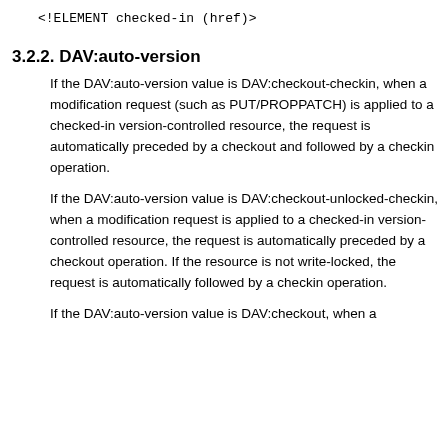<!ELEMENT checked-in (href)>
3.2.2. DAV:auto-version
If the DAV:auto-version value is DAV:checkout-checkin, when a modification request (such as PUT/PROPPATCH) is applied to a checked-in version-controlled resource, the request is automatically preceded by a checkout and followed by a checkin operation.
If the DAV:auto-version value is DAV:checkout-unlocked-checkin, when a modification request is applied to a checked-in version-controlled resource, the request is automatically preceded by a checkout operation. If the resource is not write-locked, the request is automatically followed by a checkin operation.
If the DAV:auto-version value is DAV:checkout, when a